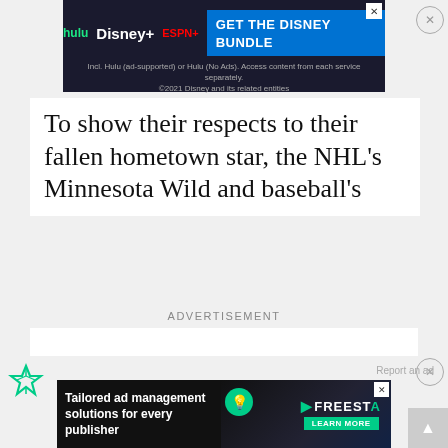[Figure (screenshot): Hulu Disney+ ESPN+ Get The Disney Bundle advertisement banner at top of page]
To show their respects to their fallen hometown star, the NHL's Minnesota Wild and baseball's
ADVERTISEMENT
[Figure (screenshot): Freestar ad management icon on left side]
Report an ad
[Figure (screenshot): Tailored ad management solutions for every publisher - Freestar advertisement banner at bottom]